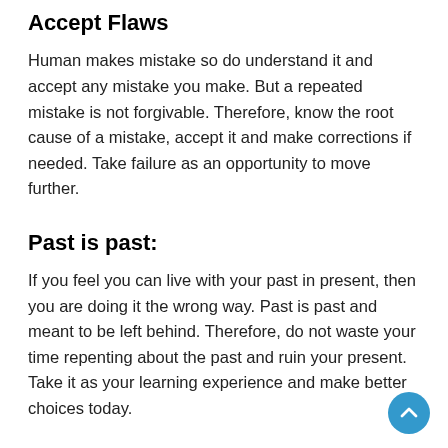Accept Flaws
Human makes mistake so do understand it and accept any mistake you make. But a repeated mistake is not forgivable. Therefore, know the root cause of a mistake, accept it and make corrections if needed. Take failure as an opportunity to move further.
Past is past:
If you feel you can live with your past in present, then you are doing it the wrong way. Past is past and meant to be left behind. Therefore, do not waste your time repenting about the past and ruin your present. Take it as your learning experience and make better choices today.